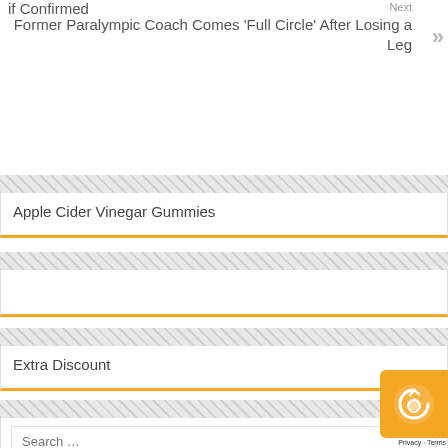if Confirmed
Next
Former Paralympic Coach Comes 'Full Circle' After Losing a Leg
Apple Cider Vinegar Gummies
Extra Discount
Search ...